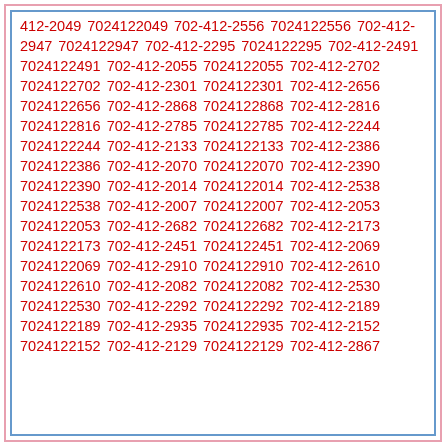412-2049 7024122049 702-412-2556 7024122556 702-412-2947 7024122947 702-412-2295 7024122295 702-412-2491 7024122491 702-412-2055 7024122055 702-412-2702 7024122702 702-412-2301 7024122301 702-412-2656 7024122656 702-412-2868 7024122868 702-412-2816 7024122816 702-412-2785 7024122785 702-412-2244 7024122244 702-412-2133 7024122133 702-412-2386 7024122386 702-412-2070 7024122070 702-412-2390 7024122390 702-412-2014 7024122014 702-412-2538 7024122538 702-412-2007 7024122007 702-412-2053 7024122053 702-412-2682 7024122682 702-412-2173 7024122173 702-412-2451 7024122451 702-412-2069 7024122069 702-412-2910 7024122910 702-412-2610 7024122610 702-412-2082 7024122082 702-412-2530 7024122530 702-412-2292 7024122292 702-412-2189 7024122189 702-412-2935 7024122935 702-412-2152 7024122152 702-412-2129 7024122129 702-412-2867